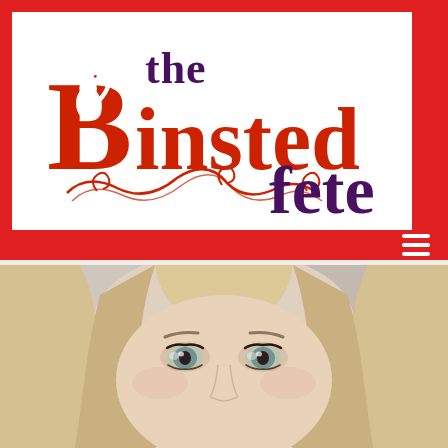[Figure (logo): The Binsted Fete logo — red squirrel in the letter B, decorative swirls, text 'the Binsted fete' in red and dark purple on white background, inside a red-bordered box]
[Figure (photo): Close-up selfie portrait of a blonde woman with blue/green eyes looking at camera, slightly desaturated tones]